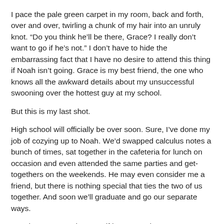I pace the pale green carpet in my room, back and forth, over and over, twirling a chunk of my hair into an unruly knot. “Do you think he’ll be there, Grace? I really don’t want to go if he’s not.” I don’t have to hide the embarrassing fact that I have no desire to attend this thing if Noah isn’t going. Grace is my best friend, the one who knows all the awkward details about my unsuccessful swooning over the hottest guy at my school.
But this is my last shot.
High school will officially be over soon. Sure, I’ve done my job of cozying up to Noah. We’d swapped calculus notes a bunch of times, sat together in the cafeteria for lunch on occasion and even attended the same parties and get-togethers on the weekends. He may even consider me a friend, but there is nothing special that ties the two of us together. And soon we’ll graduate and go our separate ways.
“You have to go, Mia. Even if he’s a no-show. Everyone else will be there. Some of those friends you’ll never see again. You owe it to them at least. And besides, you do care about the…”